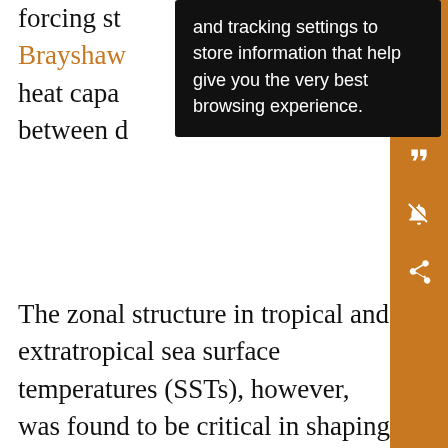forcing st... 2) and Brayshaw... s in heat capa... ility between d...
[Figure (screenshot): Browser tooltip/cookie consent overlay with black background and white text: 'and tracking settings to store information that help give you the very best browsing experience.']
The zonal structure in tropical and extratropical sea surface temperatures (SSTs), however, was found to be critical in shaping the stationary waves, albeit in very different ways. Tropical SST anomalies can influence stationary wave structure by modifying the regions of preferred upwelling in the Walker cell and associated divergent outflow (Inatsu et al. 2002; Brayshaw et al. 2009, among others) and thus act as a localized Rossby wave source. The thermal contrast between relatively warm wintertime oceans and cold wintertime continents in midlatitudes favors winter storm growth in the western part of ocean basins, and this enhancement is particularly